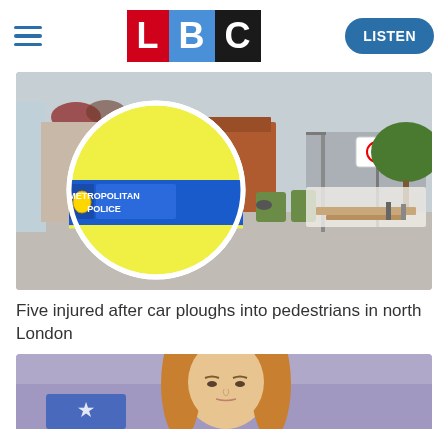[Figure (logo): LBC logo with red L, blue B, black C blocks]
[Figure (photo): Metropolitan Police car insignia circle overlay on street scene in north London with pedestrian area and shops in background]
Five injured after car ploughs into pedestrians in north London
[Figure (photo): Woman with blonde hair speaking at a podium, partial view at bottom of page]